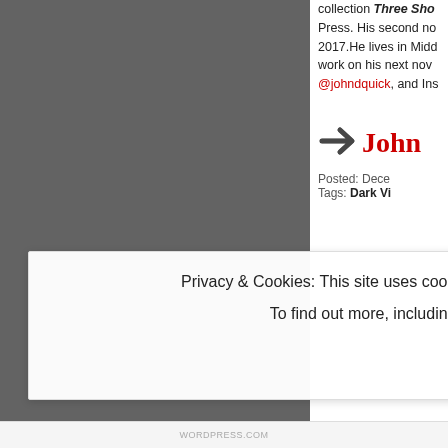[Figure (photo): Dark grayscale photo of a person against a dark background, partially visible on the left side of the page]
collection Three Sho Press. His second no 2017.He lives in Midd work on his next nov @johndquick, and Ins
John
Posted: Dece Tags: Dark Vi
Privacy & Cookies: This site uses cookies. By continuing to use this website, you agree to their use.
To find out more, including how to control cookies, see here: Cookie Policy
Close and accept
WORDPRESS.COM